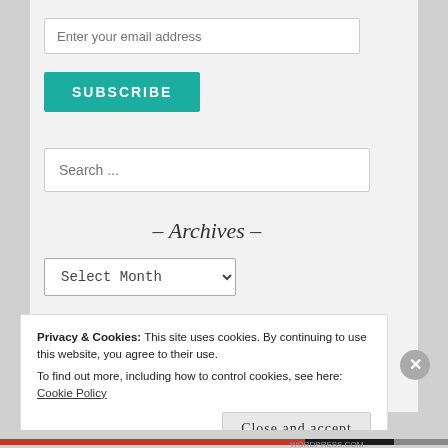Enter your email address
SUBSCRIBE
Search ...
- Archives -
Select Month
Privacy & Cookies: This site uses cookies. By continuing to use this website, you agree to their use.
To find out more, including how to control cookies, see here: Cookie Policy
Close and accept